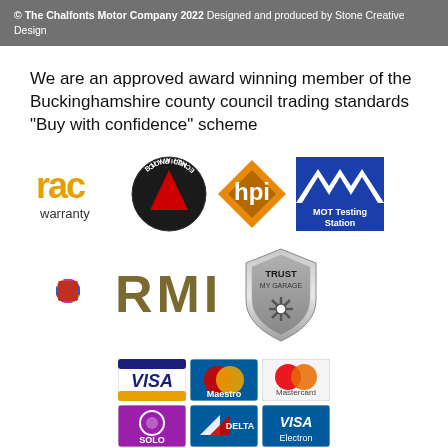© The Chalfonts Motor Company 2022 Designed and produced by Stone Creative Design
We are an approved award winning member of the Buckinghamshire county council trading standards "Buy with confidence" scheme
[Figure (logo): Row of logos: RAC warranty, Buy With Confidence circular badge, hpi diamond logo, MOT Testing Station blue square logo]
[Figure (logo): Row of logos: RMI colourful starburst logo with RMI text, Trust My Garage shield logo]
[Figure (logo): Payment cards grid: Visa, Maestro, Mastercard (top row); Solo, Delta, Visa Electron (bottom row)]